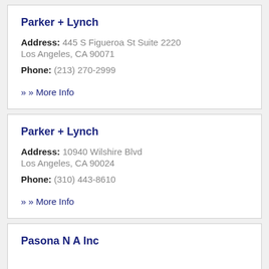Parker + Lynch
Address: 445 S Figueroa St Suite 2220
Los Angeles, CA 90071
Phone: (213) 270-2999
» More Info
Parker + Lynch
Address: 10940 Wilshire Blvd
Los Angeles, CA 90024
Phone: (310) 443-8610
» More Info
Pasona N A Inc